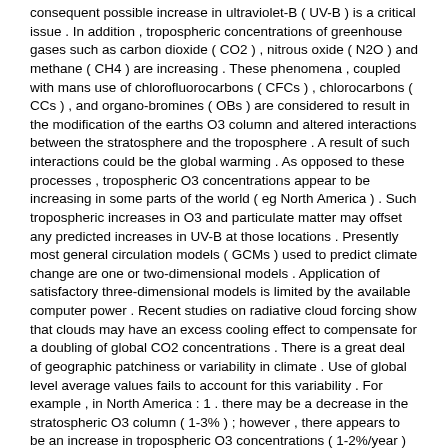consequent possible increase in ultraviolet-B ( UV-B ) is a critical issue . In addition , tropospheric concentrations of greenhouse gases such as carbon dioxide ( CO2 ) , nitrous oxide ( N2O ) and methane ( CH4 ) are increasing . These phenomena , coupled with mans use of chlorofluorocarbons ( CFCs ) , chlorocarbons ( CCs ) , and organo-bromines ( OBs ) are considered to result in the modification of the earths O3 column and altered interactions between the stratosphere and the troposphere . A result of such interactions could be the global warming . As opposed to these processes , tropospheric O3 concentrations appear to be increasing in some parts of the world ( eg North America ) . Such tropospheric increases in O3 and particulate matter may offset any predicted increases in UV-B at those locations . Presently most general circulation models ( GCMs ) used to predict climate change are one or two-dimensional models . Application of satisfactory three-dimensional models is limited by the available computer power . Recent studies on radiative cloud forcing show that clouds may have an excess cooling effect to compensate for a doubling of global CO2 concentrations . There is a great deal of geographic patchiness or variability in climate . Use of global level average values fails to account for this variability . For example , in North America : 1 . there may be a decrease in the stratospheric O3 column ( 1-3% ) ; however , there appears to be an increase in tropospheric O3 concentrations ( 1-2%/year ) to compensate up to 20-30% loss in the total O3 column ; 2 . there appears to be an increase in tropospheric CO2 , N2O and CH4 at the rate of roughly 0 . 8% , 0 . 3% and 1-2% , respectively , per year ; 3 . there is a decrease in erythemal UV-B ; and 4 . there is a cooling of tropospheric air temperature due to radiative cloud forcing . The effects of UV-B , CO2 and O3 on plants have been studied under growth chamber , greenhouse and field conditions . Few studies , if any , have examined the joint effects of more than one variable on